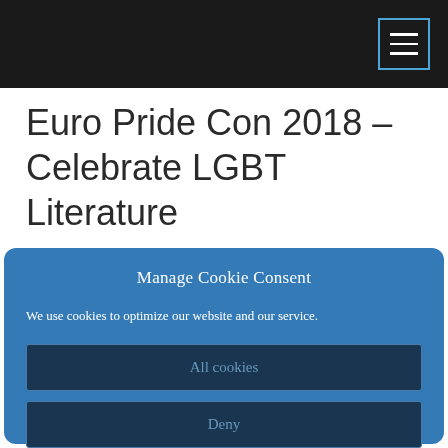Euro Pride Con 2018 – Celebrate LGBT Literature
Manage Cookie Consent
We use cookies to optimize our website and our service.
All cookies
Deny
Cookie policy